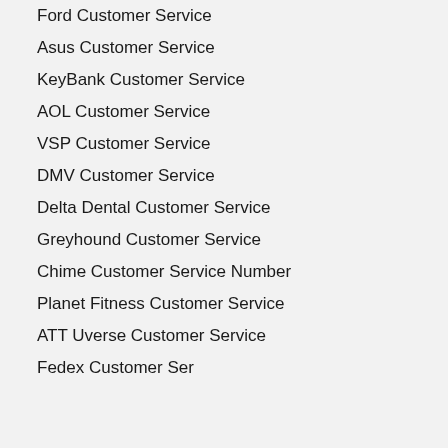Ford Customer Service
Asus Customer Service
KeyBank Customer Service
AOL Customer Service
VSP Customer Service
DMV Customer Service
Delta Dental Customer Service
Greyhound Customer Service
Chime Customer Service Number
Planet Fitness Customer Service
ATT Uverse Customer Service
Fedex Customer Service